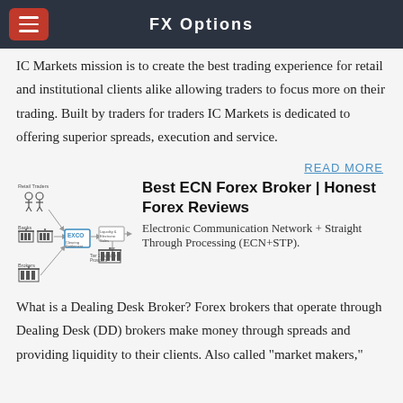FX Options
IC Markets mission is to create the best trading experience for retail and institutional clients alike allowing traders to focus more on their trading. Built by traders for traders IC Markets is dedicated to offering superior spreads, execution and service.
READ MORE
[Figure (schematic): ECN network diagram showing Retail Traders, Banks, Brokers connecting through EXCO to Liquidity & Electronic Sales and Tier 1 Liquidity Providers]
Best ECN Forex Broker | Honest Forex Reviews
Electronic Communication Network + Straight Through Processing (ECN+STP). What is a Dealing Desk Broker? Forex brokers that operate through Dealing Desk (DD) brokers make money through spreads and providing liquidity to their clients. Also called “market makers,”